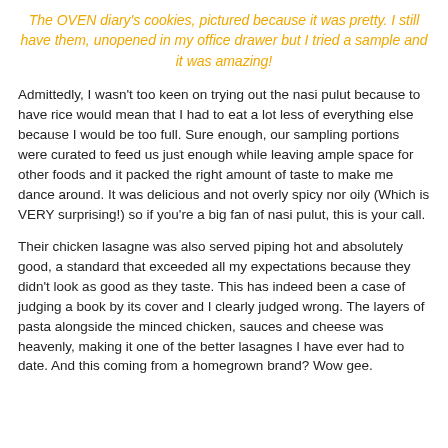The OVEN diary's cookies, pictured because it was pretty. I still have them, unopened in my office drawer but I tried a sample and it was amazing!
Admittedly, I wasn't too keen on trying out the nasi pulut because to have rice would mean that I had to eat a lot less of everything else because I would be too full. Sure enough, our sampling portions were curated to feed us just enough while leaving ample space for other foods and it packed the right amount of taste to make me dance around. It was delicious and not overly spicy nor oily (Which is VERY surprising!) so if you're a big fan of nasi pulut, this is your call.
Their chicken lasagne was also served piping hot and absolutely good, a standard that exceeded all my expectations because they didn't look as good as they taste. This has indeed been a case of judging a book by its cover and I clearly judged wrong. The layers of pasta alongside the minced chicken, sauces and cheese was heavenly, making it one of the better lasagnes I have ever had to date. And this coming from a homegrown brand? Wow gee.